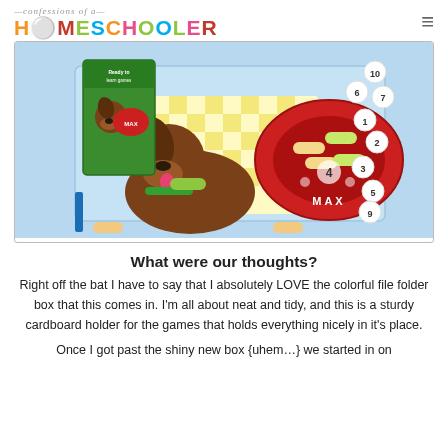confessions of a HOMESCHOOLER
[Figure (photo): Product photo of a children's educational math game showing a colorful game box, a cartoon dog with a food bowl labeled MAX, number tokens, and bone pieces on a light blue background.]
What were our thoughts?
Right off the bat I have to say that I absolutely LOVE the colorful file folder box that this comes in. I'm all about neat and tidy, and this is a sturdy cardboard holder for the games that holds everything nicely in it's place.
Once I got past the shiny new box {uhem…} we started in on